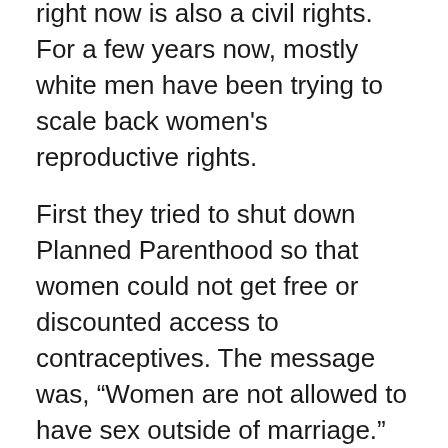right now is also a civil rights. For a few years now, mostly white men have been trying to scale back women's reproductive rights.
First they tried to shut down Planned Parenthood so that women could not get free or discounted access to contraceptives. The message was, “Women are not allowed to have sex outside of marriage.” It’s a new version of the old double standard. Men can behave as badly as they want and not suffer any repercussions. But women are viewed as either pure as the driven snow, or they’re sluts. There is no in between. The pure women are controlled through fear, the sluts are censured and vilified.
As if that wasn’t bad enough, the continued